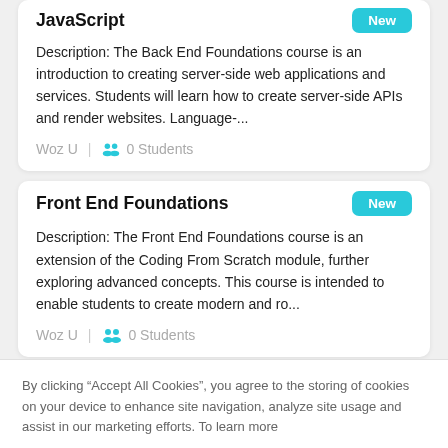JavaScript
Description: The Back End Foundations course is an introduction to creating server-side web applications and services. Students will learn how to create server-side APIs and render websites. Language-...
Woz U | 0 Students
Front End Foundations
Description: The Front End Foundations course is an extension of the Coding From Scratch module, further exploring advanced concepts. This course is intended to enable students to create modern and ro...
Woz U | 0 Students
Blog
By clicking “Accept All Cookies”, you agree to the storing of cookies on your device to enhance site navigation, analyze site usage and assist in our marketing efforts. To learn more